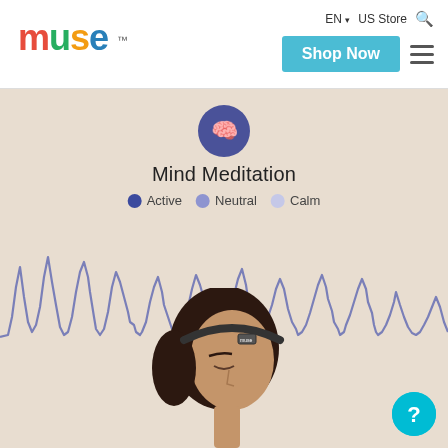muse™ | EN | US Store | Shop Now
[Figure (screenshot): Muse website screenshot showing the Mind Meditation section with a brain icon, EEG waveform legend (Active, Neutral, Calm), an animated brain wave line chart on a beige background, and a woman wearing a Muse EEG headband device.]
Mind Meditation
Active  Neutral  Calm